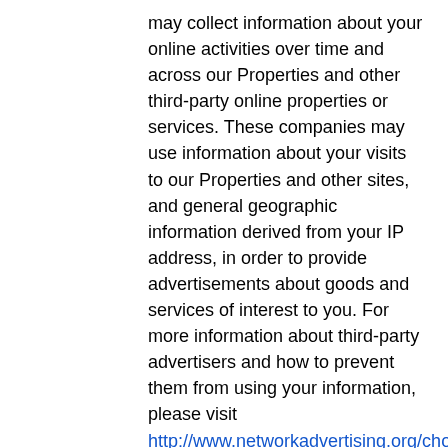may collect information about your online activities over time and across our Properties and other third-party online properties or services. These companies may use information about your visits to our Properties and other sites, and general geographic information derived from your IP address, in order to provide advertisements about goods and services of interest to you. For more information about third-party advertisers and how to prevent them from using your information, please visit http://www.networkadvertising.org/choices/. This is a site offered by the Network Advertising Initiative ("NAI") that includes information on how consumers can opt-out from receiving interest-based advertising from some or all of NAI's members. You can also visit http://www.aboutads.info/choices, which is a site offered by the Digital Advertising Alliance ("DAA") that includes information on how consumers can opt-out from receiving internet-based advertising from some or all of DAA's participating companies. Opting out of interest-based advertising does not mean that you will